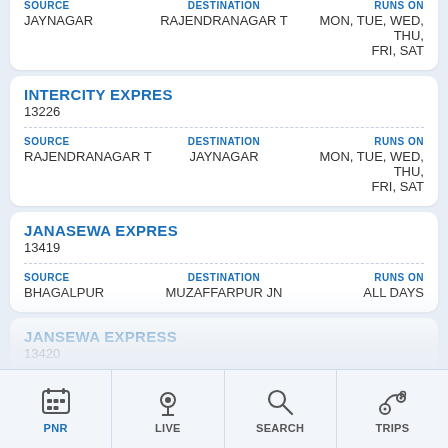SOURCE: JAYNAGAR | DESTINATION: RAJENDRANAGAR T | RUNS ON: MON, TUE, WED, THU, FRI, SAT
INTERCITY EXPRES
13226
SOURCE: RAJENDRANAGAR T | DESTINATION: JAYNAGAR | RUNS ON: MON, TUE, WED, THU, FRI, SAT
JANASEWA EXPRES
13419
SOURCE: BHAGALPUR | DESTINATION: MUZAFFARPUR JN | RUNS ON: ALL DAYS
JANSEWA EXPRESS
13420
SOURCE: MUZAFFARPUR JN | DESTINATION: BHAGALPUR | RUNS ON: ALL DAYS
PNR  LIVE  SEARCH  TRIPS